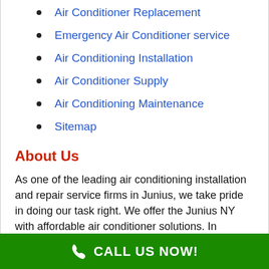Air Conditioner Replacement
Emergency Air Conditioner service
Air Conditioning Installation
Air Conditioner Supply
Air Conditioning Maintenance
Sitemap
About Us
As one of the leading air conditioning installation and repair service firms in Junius, we take pride in doing our task right. We offer the Junius NY with affordable air conditioner solutions. In addition to A/C and heating system setup, we also repair and service the HEATING AND COOLING systems we
CALL US NOW!